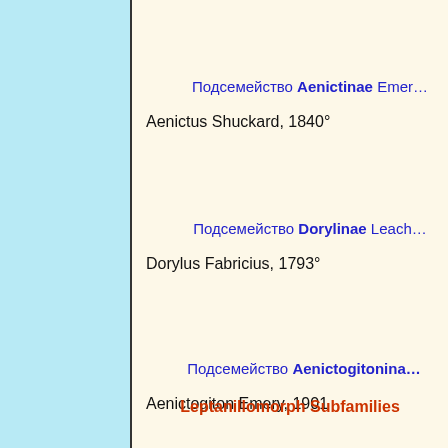Подсемейство Aenictinae Emer…
Aenictus Shuckard, 1840°
Подсемейство Dorylinae Leach…
Dorylus Fabricius, 1793°
Подсемейство Aenictogitonina…
Aenictogiton Emery, 1901
Leptanillomorph Subfamilies